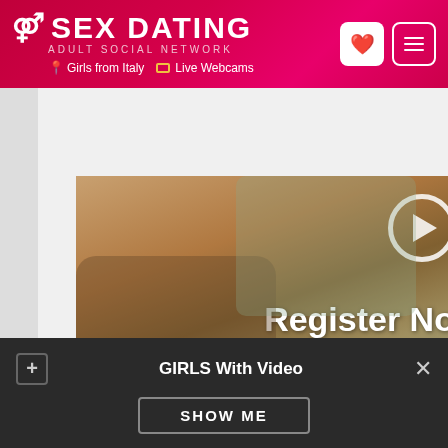SEX DATING — ADULT SOCIAL NETWORK — Girls from Italy — Live Webcams
[Figure (screenshot): Video player thumbnail showing a scene with overlaid text 'Register NO for Instant Ac' and a play button circle in the top right. Video controls bar at the bottom of the player.]
Ads Details   Reviews (0)
📍 Location: Milan   34 years old
+ GIRLS With Video ×
SHOW ME